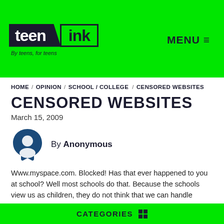[Figure (logo): Teen Ink logo — black parallelogram with 'teen' in white, green box with 'ink' in black, tagline 'By teens, for teens' below]
MENU ≡
HOME / OPINION / SCHOOL/COLLEGE / CENSORED WEBSITES
CENSORED WEBSITES
March 15, 2009
[Figure (illustration): Author avatar: dark blue speech-bubble shape with white person silhouette icon]
By Anonymous
Www.myspace.com. Blocked! Has that ever happened to you at school? Well most schools do that. Because the schools view us as children, they do not think that we can handle
CATEGORIES ⊞